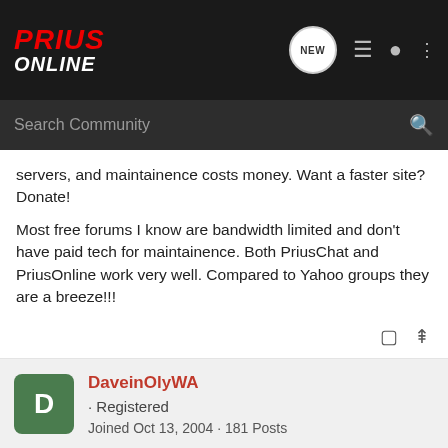Prius Online
servers, and maintainence costs money. Want a faster site? Donate!
Most free forums I know are bandwidth limited and don't have paid tech for maintainence. Both PriusChat and PriusOnline work very well. Compared to Yahoo groups they are a breeze!!!
DaveinOlyWA · Registered
Joined Oct 13, 2004 · 181 Posts
#12 · Apr 10, 2005
every thing i do loads slowly since i networked 5 boxes over a